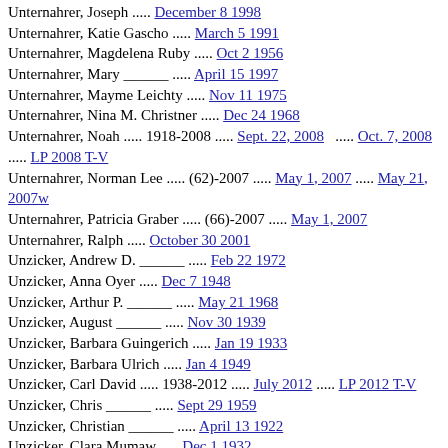Unternahrer, Joseph ..... December 8 1998
Unternahrer, Katie Gascho ..... March 5 1991
Unternahrer, Magdelena Ruby ..... Oct 2 1956
Unternahrer, Mary ______ ..... April 15 1997
Unternahrer, Mayme Leichty ..... Nov 11 1975
Unternahrer, Nina M. Christner ..... Dec 24 1968
Unternahrer, Noah ..... 1918-2008 ..... Sept. 22, 2008 ..... Oct. 7, 2008 ..... LP 2008 T-V
Unternahrer, Norman Lee ..... (62)-2007 ..... May 1, 2007 ..... May 21, 2007w
Unternahrer, Patricia Graber ..... (66)-2007 ..... May 1, 2007
Unternahrer, Ralph ..... October 30 2001
Unzicker, Andrew D. ______ ..... Feb 22 1972
Unzicker, Anna Oyer ..... Dec 7 1948
Unzicker, Arthur P. ______ ..... May 21 1968
Unzicker, August ______ ..... Nov 30 1939
Unzicker, Barbara Guingerich ..... Jan 19 1933
Unzicker, Barbara Ulrich ..... Jan 4 1949
Unzicker, Carl David ..... 1938-2012 ..... July 2012 ..... LP 2012 T-V
Unzicker, Chris ______ ..... Sept 29 1959
Unzicker, Christian ______ ..... April 13 1922
Unzicker, Clara Mumaw ..... Dec 1 1932
Unzicker, David Kent ______ ..... Nov 6 1962
Unzicker, Dorothy ______ ..... Feb 7 1978
Unzicker, Earl Kent ______ ..... Sept 13 1885